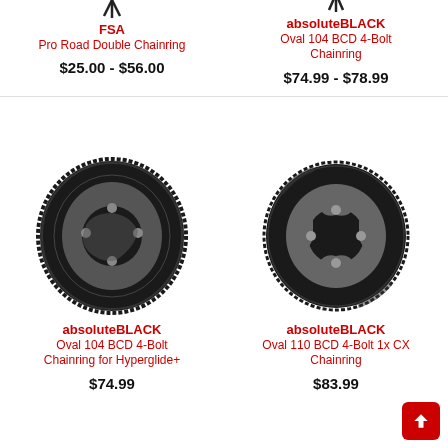[Figure (photo): Partial view of FSA Pro Road Double Chainring product image (cropped at top of page)]
FSA
Pro Road Double Chainring
$25.00 - $56.00
[Figure (photo): Partial view of absoluteBLACK Oval 104 BCD 4-Bolt Chainring product image (cropped at top of page)]
absoluteBLACK
Oval 104 BCD 4-Bolt Chainring
$74.99 - $78.99
[Figure (photo): absoluteBLACK Oval 104 BCD 4-Bolt Chainring for Hyperglide+ — black oval chainring with 4-bolt spider cutout pattern]
absoluteBLACK
Oval 104 BCD 4-Bolt Chainring for Hyperglide+
$74.99
[Figure (photo): absoluteBLACK Oval 110 BCD 4-Bolt 1x CX Chainring — black oval chainring with 4-bolt irregular cutout pattern]
absoluteBLACK
Oval 110 BCD 4-Bolt 1x CX Chainring
$83.99